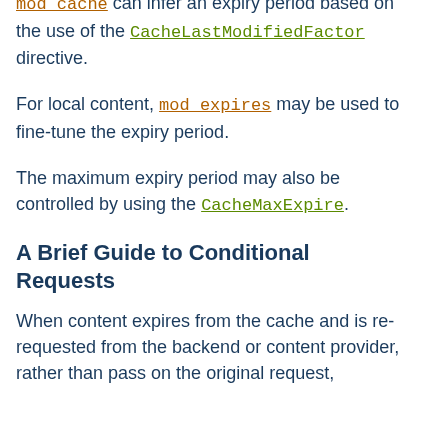mod_cache can infer an expiry period based on the use of the CacheLastModifiedFactor directive.
For local content, mod_expires may be used to fine-tune the expiry period.
The maximum expiry period may also be controlled by using the CacheMaxExpire.
A Brief Guide to Conditional Requests
When content expires from the cache and is re-requested from the backend or content provider, rather than pass on the original request,